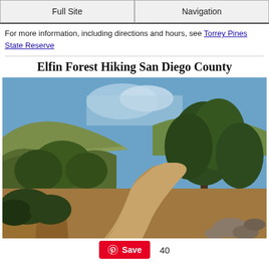Full Site | Navigation
For more information, including directions and hours, see Torrey Pines State Reserve
Elfin Forest Hiking San Diego County
[Figure (photo): A dirt hiking trail winding through chaparral and trees under a blue sky, Elfin Forest, San Diego County]
Save  40